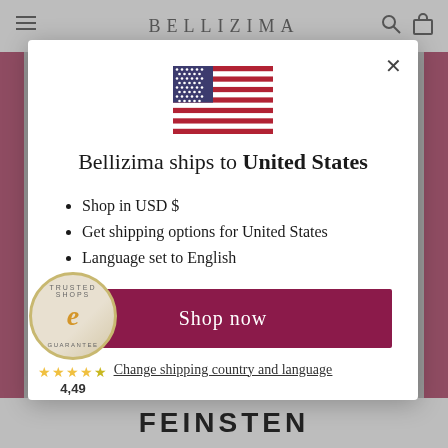BELLIZIMA
[Figure (illustration): US flag SVG illustration centered in modal]
Bellizima ships to United States
Shop in USD $
Get shipping options for United States
Language set to English
Shop now
Change shipping country and language
[Figure (logo): Trusted Shops guarantee badge with e logo and 4,49 star rating]
FEINSTEN